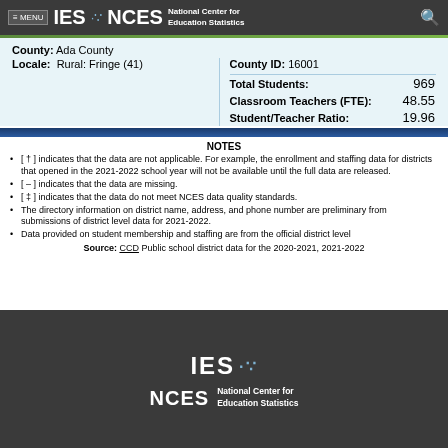MENU IES NCES National Center for Education Statistics
County: Ada County
County ID: 16001
Locale: Rural: Fringe (41)
|  |  |
| --- | --- |
| Total Students: | 969 |
| Classroom Teachers (FTE): | 48.55 |
| Student/Teacher Ratio: | 19.96 |
NOTES
[ † ] indicates that the data are not applicable. For example, the enrollment and staffing data for districts that opened in the 2021-2022 school year will not be available until the full data are released.
[ – ] indicates that the data are missing.
[ ‡ ] indicates that the data do not meet NCES data quality standards.
The directory information on district name, address, and phone number are preliminary from submissions of district level data for 2021-2022.
Data provided on student membership and staffing are from the official district level
Source: CCD Public school district data for the 2020-2021, 2021-2022
IES NCES National Center for Education Statistics